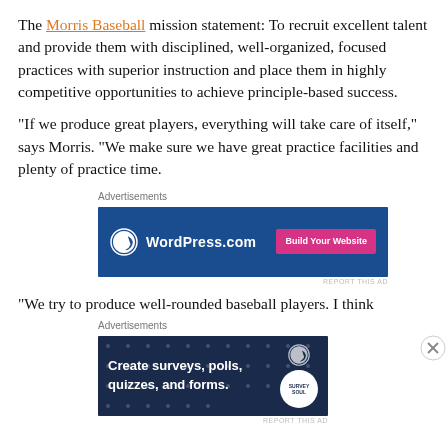The Morris Baseball mission statement: To recruit excellent talent and provide them with disciplined, well-organized, focused practices with superior instruction and place them in highly competitive opportunities to achieve principle-based success.
“If we produce great players, everything will take care of itself,” says Morris. “We make sure we have great practice facilities and plenty of practice time.
[Figure (screenshot): WordPress.com advertisement banner with dark blue background, WordPress logo, site name 'WordPress.com', and pink 'Build Your Website' button]
“We try to produce well-rounded baseball players. I think
[Figure (screenshot): Advertisement for creating surveys, polls, quizzes, and forms with WordPress on dark navy background with dots pattern]